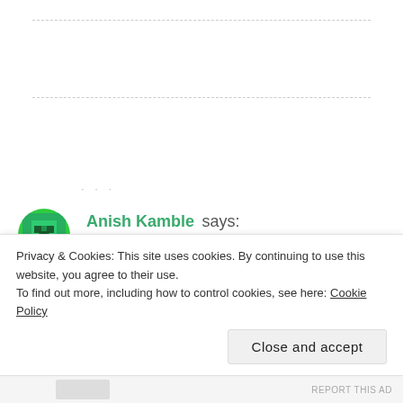[Figure (screenshot): Screenshot of a blog comment section showing a user avatar, commenter name, date, and partial comment text, with a cookie consent banner overlaid at the bottom.]
Anish Kamble says:
JUNE 23, 2017 AT 2:10 AM
Vow.. Great article..Not just about the toolbaritems...
a great way to demonstrate how the Custom...
Privacy & Cookies: This site uses cookies. By continuing to use this website, you agree to their use.
To find out more, including how to control cookies, see here: Cookie Policy
Close and accept